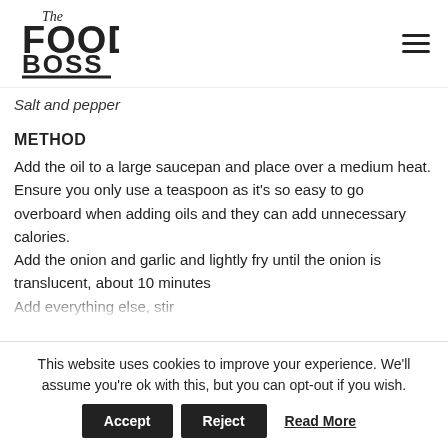The Food Boss
Salt and pepper
METHOD
Add the oil to a large saucepan and place over a medium heat. Ensure you only use a teaspoon as it’s so easy to go overboard when adding oils and they can add unnecessary calories.
Add the onion and garlic and lightly fry until the onion is translucent, about 10 minutes
Add everything else, stir...
This website uses cookies to improve your experience. We'll assume you're ok with this, but you can opt-out if you wish.